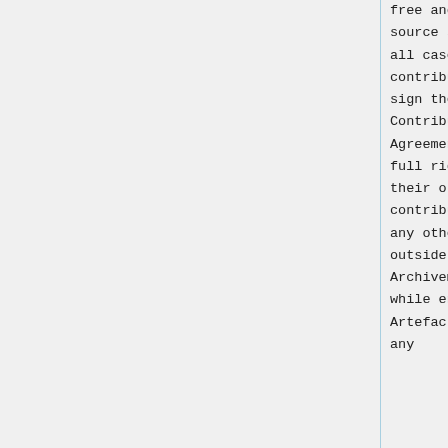free and open-source software. In all cases, contributors who sign the Contributor's Agreement retain full rights to use their original contributions for any other purpose outside of Archivematica, while enabling Artefactual Systems any
free and open-source software. In all cases, contributors who sign the Contributor's Agreement retain full rights to use their original contributions for any other purpose outside of Archivematica, while enabling Artefactual Systems any